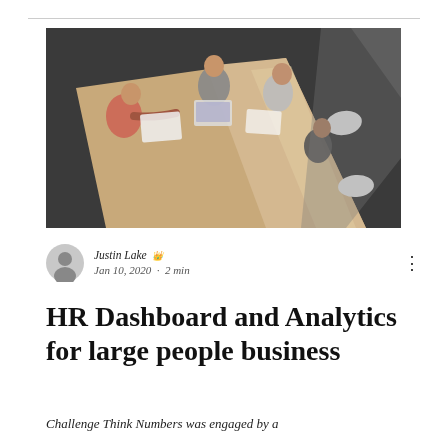[Figure (photo): Overhead/aerial view of people around a large conference table, reviewing documents and working together. Dark grey floor, light wood table, white chairs visible.]
Justin Lake [crown icon] Jan 10, 2020 · 2 min
HR Dashboard and Analytics for large people business
Challenge Think Numbers was engaged by a